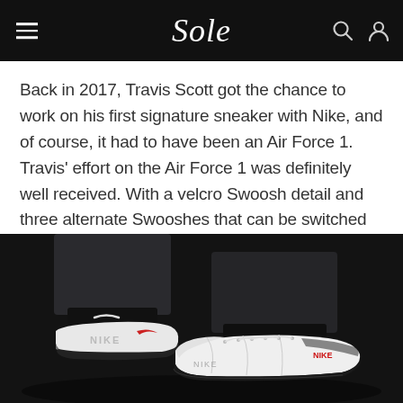Sole
Back in 2017, Travis Scott got the chance to work on his first signature sneaker with Nike, and of course, it had to have been an Air Force 1. Travis' effort on the Air Force 1 was definitely well received. With a velcro Swoosh detail and three alternate Swooshes that can be switched out, a lace lock shaped like his signature grills is also present. To round the design off, the design is finished off with a durable gum outsole.
[Figure (photo): Photo of Nike Air Force 1 sneakers (white with black accents) worn on feet, shot from a low angle in a dark/dim setting. The sneakers appear to be Travis Scott x Nike collaboration shoes.]